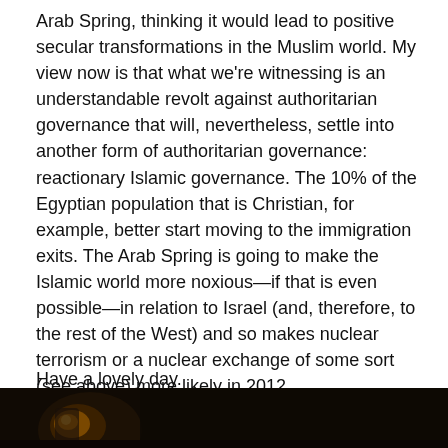Arab Spring, thinking it would lead to positive secular transformations in the Muslim world. My view now is that what we're witnessing is an understandable revolt against authoritarian governance that will, nevertheless, settle into another form of authoritarian governance: reactionary Islamic governance. The 10% of the Egyptian population that is Christian, for example, better start moving to the immigration exits. The Arab Spring is going to make the Islamic world more noxious—if that is even possible—in relation to Israel (and, therefore, to the rest of the West) and so makes nuclear terrorism or a nuclear exchange of some sort (see above) more likely in 2012.
Have a lovely day.
[Figure (photo): Dark photograph showing a partially visible figure or object with warm amber/gold tones against a very dark background, cropped at the bottom of the page.]